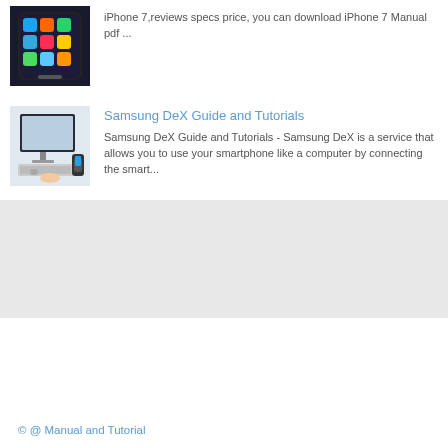iPhone 7,reviews specs price, you can download iPhone 7 Manual pdf ...
Samsung DeX Guide and Tutorials
Samsung DeX Guide and Tutorials - Samsung DeX is a service that allows you to use your smartphone like a computer by connecting the smart...
© @ Manual and Tutorial